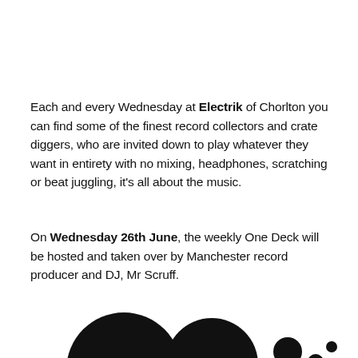Each and every Wednesday at Electrik of Chorlton you can find some of the finest record collectors and crate diggers, who are invited down to play whatever they want in entirety with no mixing, headphones, scratching or beat juggling, it's all about the music.
On Wednesday 26th June, the weekly One Deck will be hosted and taken over by Manchester record producer and DJ, Mr Scruff.
[Figure (illustration): Partial decorative illustration at bottom of page showing dark circular/abstract shapes]